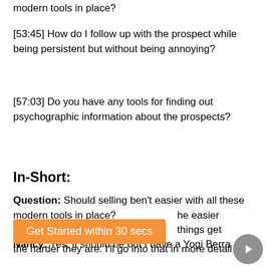modern tools in place?
[53:45] How do I follow up with the prospect while being persistent but without being annoying?
[57:03] Do you have any tools for finding out psychographic information about the prospects?
In-Short:
Question: Should selling ben't easier with all these modern tools in place?
Nancy: Yes, it should be but I have a Yogi Berra … he easier things get the harder they are. I'll go into that in more detail
[Figure (other): Orange CTA button reading 'Get Started within 30 secs']
[Figure (other): Dark grey circular play button with triangle icon]